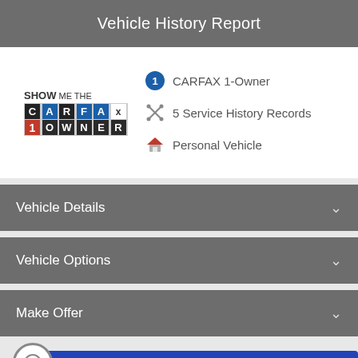Vehicle History Report
[Figure (logo): CARFAX 1-Owner logo with SHOW ME THE CARFAX branding]
CARFAX 1-Owner
5 Service History Records
Personal Vehicle
Vehicle Details
Vehicle Options
Make Offer
Text Us